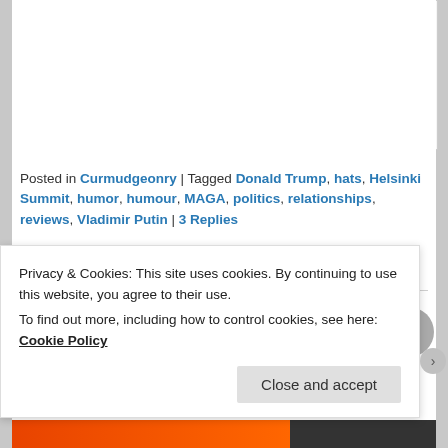[Figure (photo): Partial view of a red baseball cap/MAGA hat against a white background, showing only the lower brim and red fabric.]
Posted in Curmudgeonry | Tagged Donald Trump, hats, Helsinki Summit, humor, humour, MAGA, politics, relationships, reviews, Vladimir Putin | 3 Replies
Donorrhea
Privacy & Cookies: This site uses cookies. By continuing to use this website, you agree to their use.
To find out more, including how to control cookies, see here: Cookie Policy
Close and accept